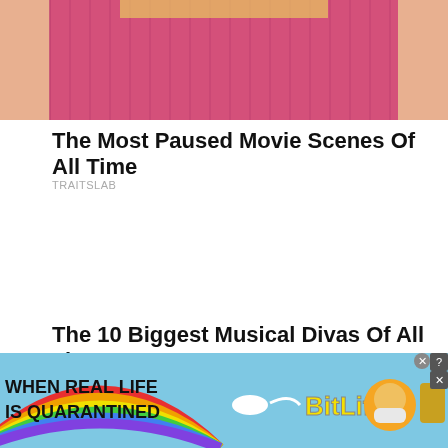[Figure (photo): Partial view of a person wearing a pink ribbed top, cropped at the torso/chest area with blonde hair visible at top]
The Most Paused Movie Scenes Of All Time
TRAITSLAB
The 10 Biggest Musical Divas Of All Time
BRAINBERRIES
[Figure (infographic): Advertisement banner for BitLife game with rainbow background, text 'WHEN REAL LIFE IS QUARANTINED', sperm icon, BitLife logo in yellow, masked emoji face, thumbs up emoji, and close/help buttons]